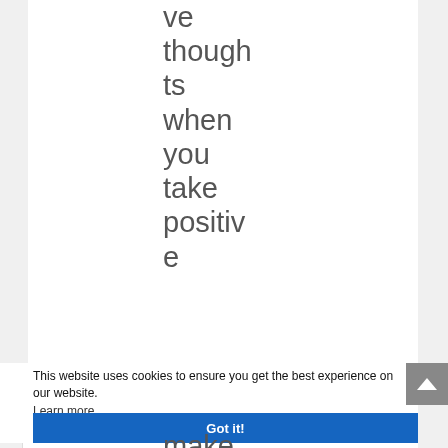negative thoughts when you take positive e
This website uses cookies to ensure you get the best experience on our website. Learn more
Got it!
make